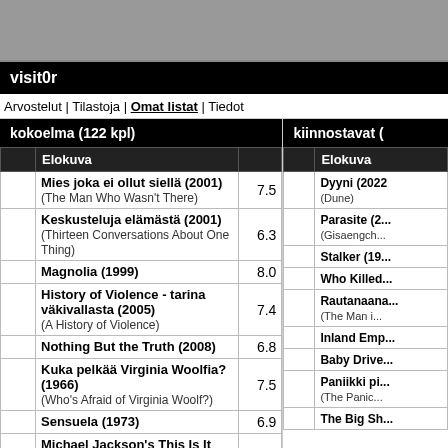visit0r
Arvostelut | Tilastoja | Omat listat | Tiedot
|  | Elokuva |  |
| --- | --- | --- |
|  | Mies joka ei ollut siellä (2001)
(The Man Who Wasn't There) | 7.5 |
|  | Keskusteluja elämästä (2001)
(Thirteen Conversations About One Thing) | 6.3 |
|  | Magnolia (1999) | 8.0 |
|  | History of Violence - tarina väkivallasta (2005)
(A History of Violence) | 7.4 |
|  | Nothing But the Truth (2008) | 6.8 |
|  | Kuka pelkää Virginia Woolfia? (1966)
(Who's Afraid of Virginia Woolf?) | 7.5 |
|  | Sensuela (1973) | 6.9 |
|  | Michael Jackson's This Is It (2009)
(This Is It) | 4.9 |
|  | (500) Days of Summer (2009) | 7.8 |
|  | Elokuva |
| --- | --- |
|  | Dyyni (2022)
(Dune) |
|  | Parasite (2019)
(Gisaengchu) |
|  | Stalker (196...) |
|  | Who Killed... |
|  | Rautanaana...
(The Man i...) |
|  | Inland Emp... |
|  | Baby Drive... |
|  | Paniikki pi...
(The Panic... |
|  | The Big Sh... |